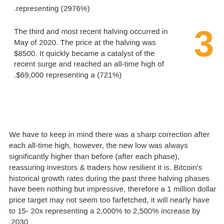.representing (2976%)
The third and most recent halving occurred in May of 2020. The price at the halving was $8500. It quickly became a catalyst of the recent surge and reached an all-time high of .$69,000 representing a (721%)
We have to keep in mind there was a sharp correction after each all-time high, however, the new low was always significantly higher than before (after each phase), reassuring investors & traders how resilient it is. Bitcoin's historical growth rates during the past three halving phases have been nothing but impressive, therefore a 1 million dollar price target may not seem too farfetched, it will nearly have to 15-20x representing a 2,000% to 2,500% increase by .2030